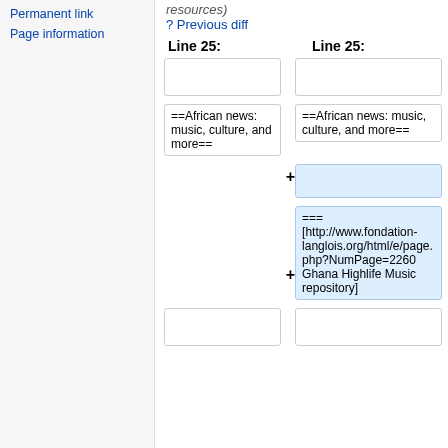Permanent link
Page information
resources)
? Previous diff
Line 25:    Line 25:
|  |  |
| ==African news: music, culture, and more== | ==African news: music, culture, and more== |
|  | + (added empty) |
|  | + === [http://www.fondation-langlois.org/html/e/page.php?NumPage=2260 Ghana Highlife Music repository] |
|  |  |